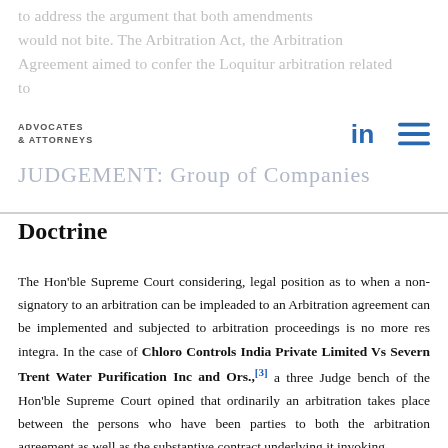to address the argument that both amendments would not bite. The Arbitration Act, the Arbitration Agreement aimed to confer the Loquitur arbitration related to
ADVOCATES & ATTORNEYS
JUDGEMENT: Group of Companies Doctrine
The Hon'ble Supreme Court considering, legal position as to when a non-signatory to an arbitration can be impleaded to an Arbitration agreement can be implemented and subjected to arbitration proceedings is no more res integra. In the case of Chloro Controls India Private Limited Vs Severn Trent Water Purification Inc and Ors.,[3] a three Judge bench of the Hon'ble Supreme Court opined that ordinarily an arbitration takes place between the persons who have been parties to both the arbitration agreement as well as the substantive contract underlying it invoking